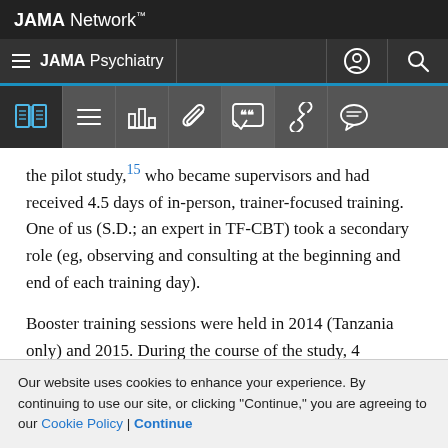JAMA Network
JAMA Psychiatry
the pilot study,15 who became supervisors and had received 4.5 days of in-person, trainer-focused training. One of us (S.D.; an expert in TF-CBT) took a secondary role (eg, observing and consulting at the beginning and end of each training day).
Booster training sessions were held in 2014 (Tanzania only) and 2015. During the course of the study, 4 T...
Our website uses cookies to enhance your experience. By continuing to use our site, or clicking "Continue," you are agreeing to our Cookie Policy | Continue